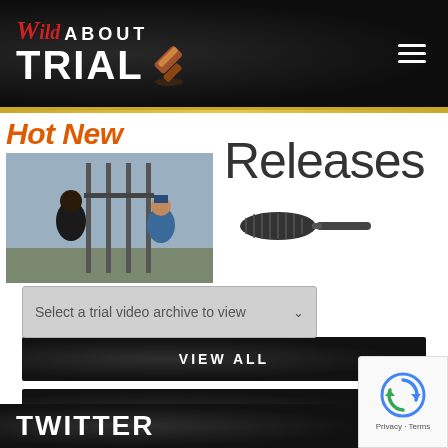Wild About Trial
Hot New Releases
[Figure (photo): Two figures near jail bars, one in blue uniform]
[Figure (photo): Microphone image partially visible]
VIEW ALL
ARCHIVE FINDER
Select a trial video archive to view
TWITTER